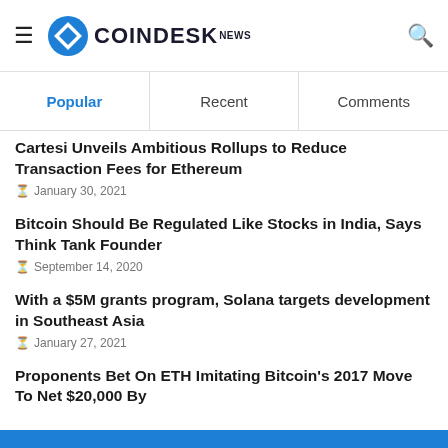CoinDesk NEWS
Popular | Recent | Comments
Cartesi Unveils Ambitious Rollups to Reduce Transaction Fees for Ethereum
January 30, 2021
Bitcoin Should Be Regulated Like Stocks in India, Says Think Tank Founder
September 14, 2020
With a $5M grants program, Solana targets development in Southeast Asia
January 27, 2021
Proponents Bet On ETH Imitating Bitcoin's 2017 Move To Net $20,000 By...